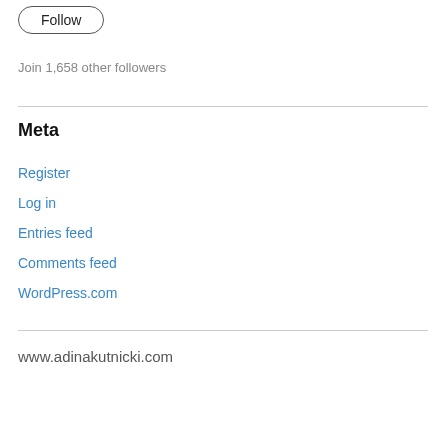[Figure (other): Follow button — rounded pill-shaped button with text 'Follow']
Join 1,658 other followers
Meta
Register
Log in
Entries feed
Comments feed
WordPress.com
www.adinakutnicki.com